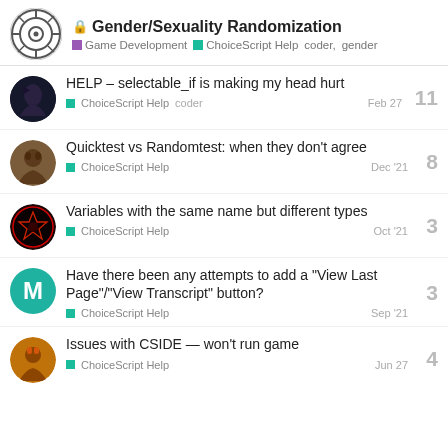Gender/Sexuality Randomization — Game Development | ChoiceScript Help | coder, gender
HELP – selectable_if is making my head hurt — ChoiceScript Help, coder — Feb 27 — 11 replies
Quicktest vs Randomtest: when they don't agree — ChoiceScript Help — Dec '21 — 8 replies
Variables with the same name but different types — ChoiceScript Help — Oct '21 — 3 replies
Have there been any attempts to add a "View Last Page"/"View Transcript" button? — ChoiceScript Help — Sep '21 — 3 replies
Issues with CSIDE — won't run game — ChoiceScript Help — Jun 27 — 4 replies